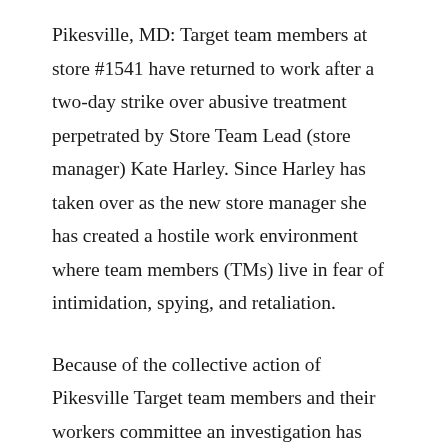Pikesville, MD: Target team members at store #1541 have returned to work after a two-day strike over abusive treatment perpetrated by Store Team Lead (store manager) Kate Harley. Since Harley has taken over as the new store manager she has created a hostile work environment where team members (TMs) live in fear of intimidation, spying, and retaliation.
Because of the collective action of Pikesville Target team members and their workers committee an investigation has been launched and has resulted in the removal of STL Kate Harley. Team members (TMs) await Target Corporation’s decision to fire STL Harley for her abusive actions towards Pikesville Target team members. TMs still demand respect on the job and the right to a workplace that is hostility-free. TMs also